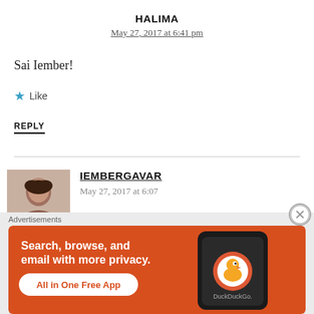HALIMA
May 27, 2017 at 6:41 pm
Sai Iember!
★ Like
REPLY
IEMBERGAVAR
[Figure (photo): Avatar photo of a woman]
Advertisements
[Figure (screenshot): DuckDuckGo advertisement banner: Search, browse, and email with more privacy. All in One Free App. Shows phone with DuckDuckGo app.]